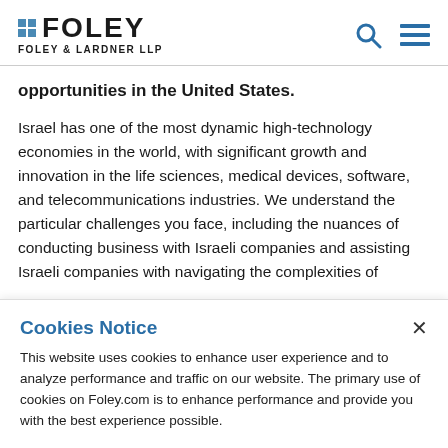FOLEY FOLEY & LARDNER LLP
opportunities in the United States.
Israel has one of the most dynamic high-technology economies in the world, with significant growth and innovation in the life sciences, medical devices, software, and telecommunications industries. We understand the particular challenges you face, including the nuances of conducting business with Israeli companies and assisting Israeli companies with navigating the complexities of
Cookies Notice
This website uses cookies to enhance user experience and to analyze performance and traffic on our website. The primary use of cookies on Foley.com is to enhance performance and provide you with the best experience possible.